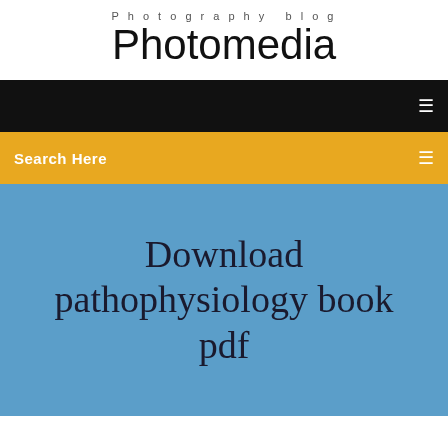Photography blog
Photomedia
[Figure (screenshot): Black navigation bar with a hamburger/menu icon on the right side]
Search Here
Download pathophysiology book pdf